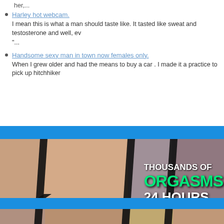her,...
Harley hot webcam.
I mean this is what a man should taste like. It tasted like sweat and testosterone and well, ev
"...
Handsome sexy man in town now females only.
When I grew older and had the means to buy a car . I made it a practice to pick up hitchhiker
[Figure (infographic): Adult content advertisement banner with collage of images and text overlay reading THOUSANDS OF ORGASMS 24 HOURS on black background with blue accent bars]
Upon my arrival back to the chair I'm told to take my pants down. I've already done this once performing.